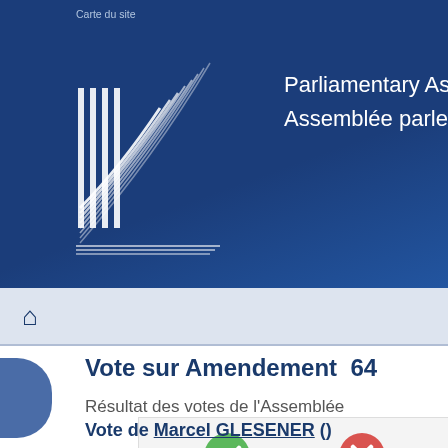Carte du site
[Figure (logo): Council of Europe Parliamentary Assembly logo — white line art of a building with curved lines on dark blue background]
Parliamentary Assembly / Assemblée parlementaire
Vote sur Amendement  64
Résultat des votes de l'Assemblée
[Figure (infographic): Vote result box showing green checkmark icon with 47 Pour, and red X icon with 86 Contre]
Vote de Marcel GLESENER ()